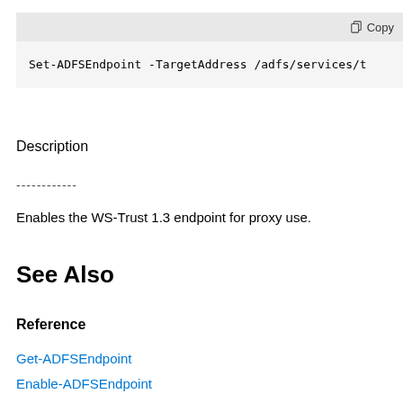Command Prompt: Set-ADFSEndpoint -TargetAddress /adfs/services/t
Description
------------
Enables the WS-Trust 1.3 endpoint for proxy use.
See Also
Reference
Get-ADFSEndpoint
Enable-ADFSEndpoint